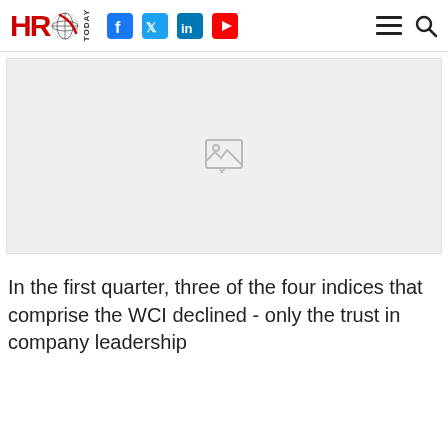HRO Today
[Figure (photo): Broken/missing image placeholder with gray background]
In the first quarter, three of the four indices that comprise the WCI declined - only the trust in company leadership